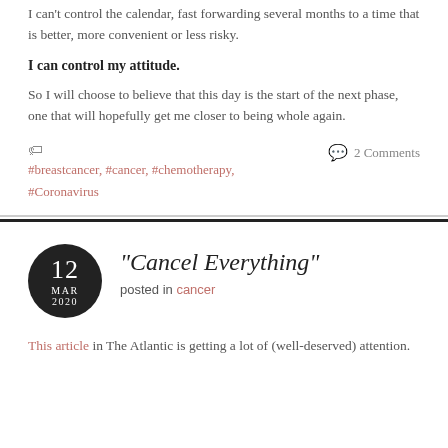I can't control the calendar, fast forwarding several months to a time that is better, more convenient or less risky.
I can control my attitude.
So I will choose to believe that this day is the start of the next phase, one that will hopefully get me closer to being whole again.
#breastcancer, #cancer, #chemotherapy, #Coronavirus    2 Comments
"Cancel Everything"  posted in cancer
This article in The Atlantic is getting a lot of (well-deserved) attention.